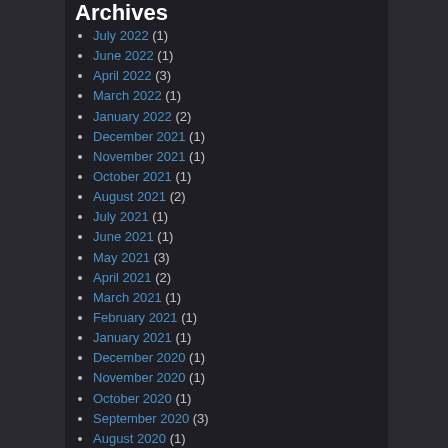Archives
July 2022 (1)
June 2022 (1)
April 2022 (3)
March 2022 (1)
January 2022 (2)
December 2021 (1)
November 2021 (1)
October 2021 (1)
August 2021 (2)
July 2021 (1)
June 2021 (1)
May 2021 (3)
April 2021 (2)
March 2021 (1)
February 2021 (1)
January 2021 (1)
December 2020 (1)
November 2020 (1)
October 2020 (1)
September 2020 (3)
August 2020 (1)
July 2020 (2)